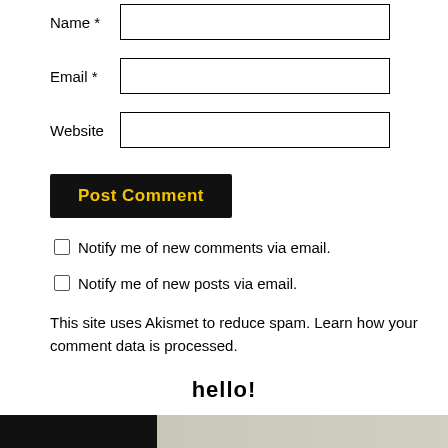Name *
Email *
Website
Post Comment
Notify me of new comments via email.
Notify me of new posts via email.
This site uses Akismet to reduce spam. Learn how your comment data is processed.
hello!
[Figure (photo): Partial photo strip showing a dark left section and lighter right section, cropped at the bottom of the page.]